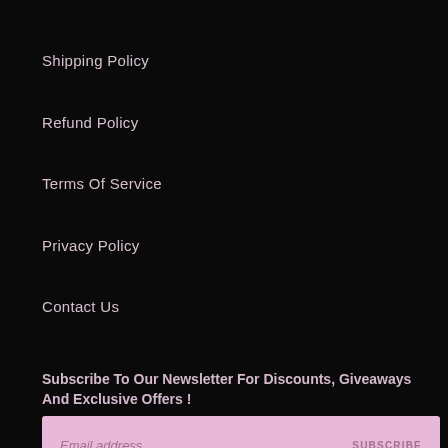Shipping Policy
Refund Policy
Terms Of Service
Privacy Policy
Contact Us
Subscribe To Our Newsletter For Discounts, Giveaways And Exclusive Offers !
Email address  SUBSCRIBE